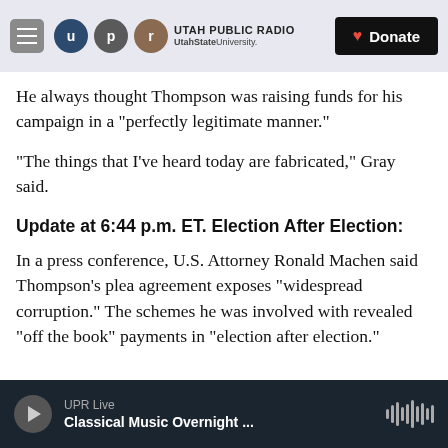Utah Public Radio | UtahState University | Donate
He always thought Thompson was raising funds for his campaign in a "perfectly legitimate manner."
"The things that I've heard today are fabricated," Gray said.
Update at 6:44 p.m. ET. Election After Election:
In a press conference, U.S. Attorney Ronald Machen said Thompson's plea agreement exposes "widespread corruption." The schemes he was involved with revealed "off the book" payments in "election after election."
UPR Live | Classical Music Overnight ...